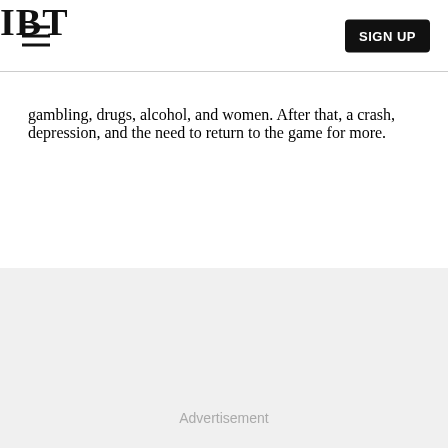IBT
gambling, drugs, alcohol, and women. After that, a crash, depression, and the need to return to the game for more.
[Figure (other): Advertisement placeholder area with light gray background and 'Advertisement' label text centered at bottom.]